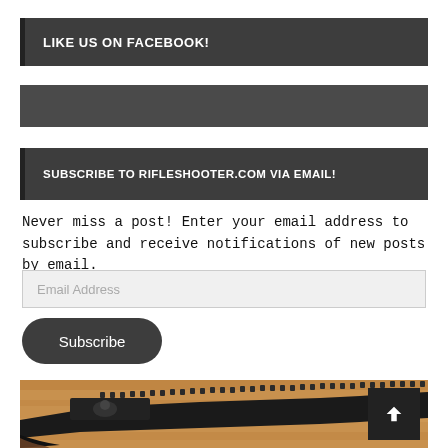LIKE US ON FACEBOOK!
[Figure (other): Gray decorative bar (blank)]
SUBSCRIBE TO RIFLESHOOTER.COM VIA EMAIL!
Never miss a post! Enter your email address to subscribe and receive notifications of new posts by email.
Email Address
Subscribe
[Figure (photo): Close-up photo of a black bolt-action rifle on a wooden floor, showing the receiver, rail, and bolt area.]